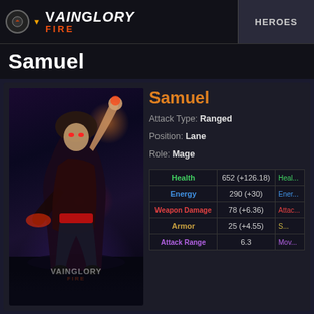VAINGLORY FIRE | HEROES
Samuel
[Figure (illustration): Samuel hero art — a dark-hooded mage character with long black hair, glowing red eyes, and a magical weapon, jumping/flying pose with dramatic lighting. Vainglory Fire watermark overlay.]
Samuel
Attack Type: Ranged
Position: Lane
Role: Mage
| Stat | Value | Per Level |
| --- | --- | --- |
| Health | 652 (+126.18) | Heal... |
| Energy | 290 (+30) | Ener... |
| Weapon Damage | 78 (+6.36) | Attac... |
| Armor | 25 (+4.55) | S... |
| Attack Range | 6.3 | Mov... |